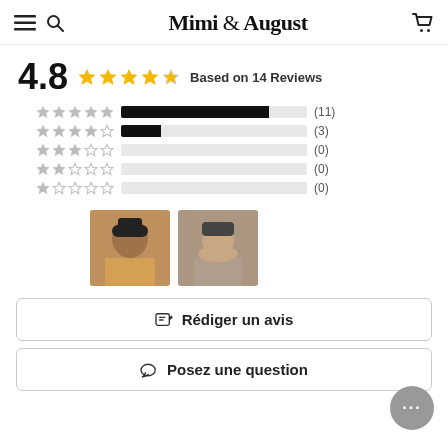Mimi & August
4.8  Based on 14 Reviews
[Figure (infographic): Rating breakdown bars: 5 stars (11), 4 stars (3), 3 stars (0), 2 stars (0), 1 star (0)]
[Figure (photo): Two customer photo thumbnails showing people wearing products]
Rédiger un avis
Posez une question